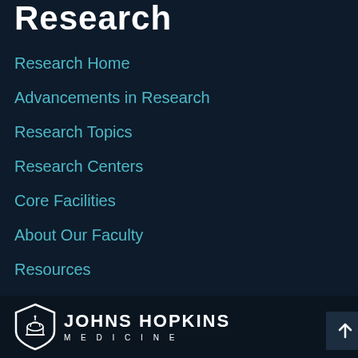Research
Research Home
Advancements in Research
Research Topics
Research Centers
Core Facilities
About Our Faculty
Resources
Events Calendar
[Figure (logo): Johns Hopkins Medicine logo with shield/dome icon and text JOHNS HOPKINS MEDICINE]